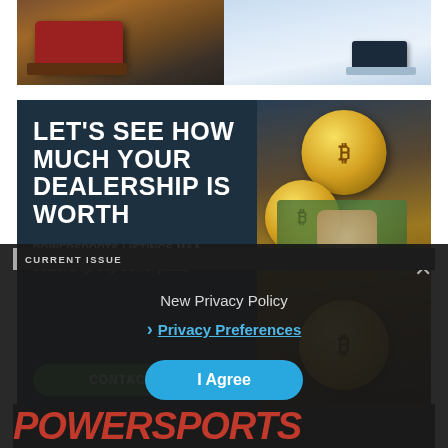[Figure (photo): Split photo banner: left side shows a red ATV quad on dirt trail, right side shows a snowmobile rider in snowy terrain]
[Figure (infographic): Advertisement for Powersports Listings M&A - dark teal left panel with bold white text 'LET'S SEE HOW MUCH YOUR DEALERSHIP IS WORTH', underlined link text 'POWERSPORTS LISTINGS M&A', italic subtitle 'dealership buy-sell experts', green contact us button. Right panel shows Bitcoin coins and US dollar bills.]
New Privacy Policy
Privacy Preferences
I Agree
CURRENT ISSUE
POWERSPORTS